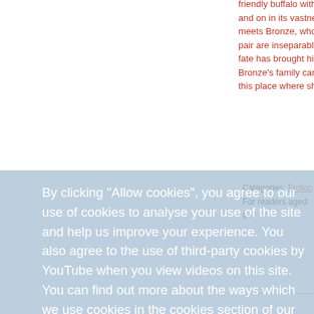friendly buffalo with their stro and on in its vastness. Howe meets Bronze, who, unable to pair are inseparable, and whe fate has brought him the sist Bronze's family can barely af this place where she has fina
Categories: Fiction
For readers aged: 9+
By clicking "Allow cookies", you agree to our use of cookies to analyse your use of the site and help us improve your experience. You also agree to the use of third-party cookies by YouTube when you view videos on this site. You can find out more about the ways which we use cookies in the cookies section of our Privacy Notice. learn about our policies
Publication details:
Format: Paperback
ISBN: 9781406348460
Published: 02 Apr 2015
Price: £8.99
More to explore...
learn about our policies
Decline/Revoke
Allow cookies